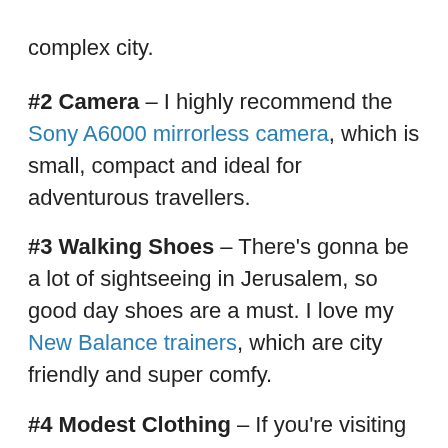complex city.
#2 Camera – I highly recommend the Sony A6000 mirrorless camera, which is small, compact and ideal for adventurous travellers.
#3 Walking Shoes – There's gonna be a lot of sightseeing in Jerusalem, so good day shoes are a must. I love my New Balance trainers, which are city friendly and super comfy.
#4 Modest Clothing – If you're visiting Temple Mount or some of the other important religious sites in this city, come